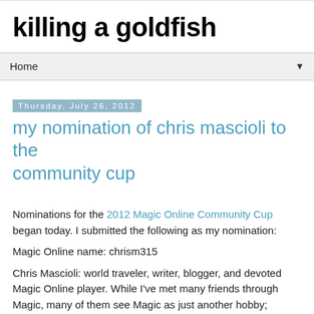killing a goldfish
Home
Thursday, July 26, 2012
my nomination of chris mascioli to the community cup
Nominations for the 2012 Magic Online Community Cup began today. I submitted the following as my nomination:
Magic Online name: chrism315
Chris Mascioli: world traveler, writer, blogger, and devoted Magic Online player. While I've met many friends through Magic, many of them see Magic as just another hobby; another aspect of themselves. To Chris, Magic is very near